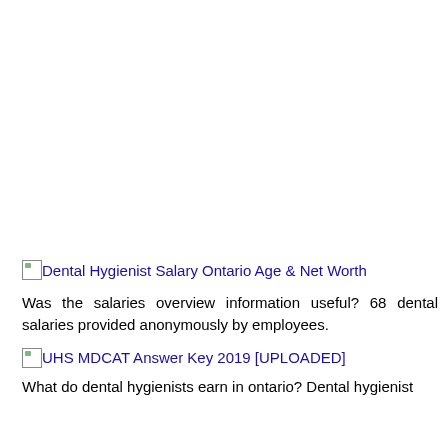[Figure (other): Broken image placeholder with text: Dental Hygienist Salary Ontario Age & Net Worth]
Was the salaries overview information useful? 68 dental salaries provided anonymously by employees.
[Figure (other): Broken image placeholder with text: UHS MDCAT Answer Key 2019 [UPLOADED]]
What do dental hygienists earn in ontario? Dental hygienist